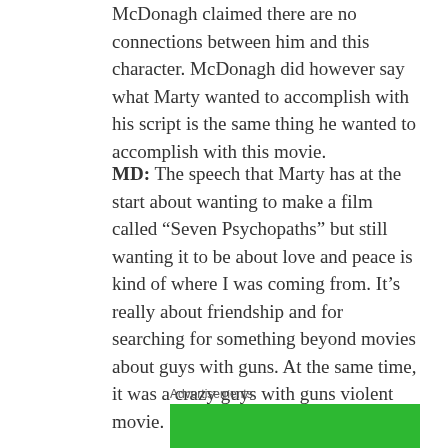McDonagh claimed there are no connections between him and this character. McDonagh did however say what Marty wanted to accomplish with his script is the same thing he wanted to accomplish with this movie.
MD: The speech that Marty has at the start about wanting to make a film called “Seven Psychopaths” but still wanting it to be about love and peace is kind of where I was coming from. It’s really about friendship and for searching for something beyond movies about guys with guns. At the same time, it was a crazy guys with guns violent movie.
Advertisements
[Figure (other): Green advertisement banner at the bottom of the page]